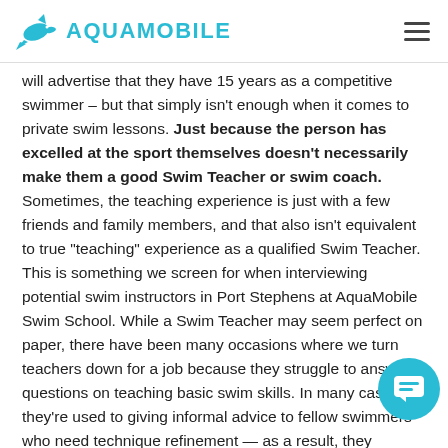AQUAMOBILE
will advertise that they have 15 years as a competitive swimmer – but that simply isn't enough when it comes to private swim lessons. Just because the person has excelled at the sport themselves doesn't necessarily make them a good Swim Teacher or swim coach. Sometimes, the teaching experience is just with a few friends and family members, and that also isn't equivalent to true "teaching" experience as a qualified Swim Teacher. This is something we screen for when interviewing potential swim instructors in Port Stephens at AquaMobile Swim School. While a Swim Teacher may seem perfect on paper, there have been many occasions where we turn teachers down for a job because they struggle to answer questions on teaching basic swim skills. In many cases, they're used to giving informal advice to fellow swimmers who need technique refinement — as a result, they struggle to break skills down into simple steps that are digestible for novice